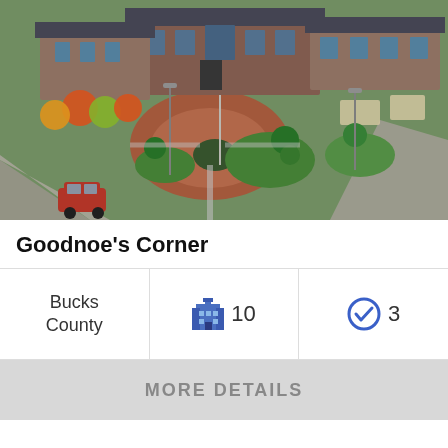[Figure (photo): Aerial drone view of Goodnoe's Corner shopping center with brick buildings, circular flagpole plaza, outdoor dining with colorful umbrellas, American flag, green landscaping, and a red car on the street.]
Goodnoe's Corner
| County | Buildings | Verified |
| --- | --- | --- |
| Bucks County | 10 | 3 |
MORE DETAILS